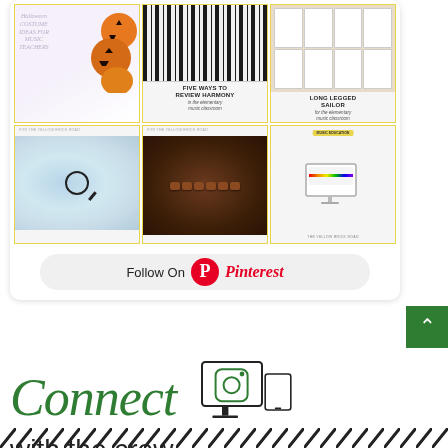[Figure (screenshot): Pinterest widget showing a grid of 6 educational music pins including Halloween costume ideas for music teachers, Five Ways to Review Harmony, Long Legged Sailor, map with magnifier, chocolate pieces, and music education monitor. Below the grid is a Follow On Pinterest button.]
[Figure (illustration): Connect with the crew section showing the word Connect in green italic script, Instagram icon on a monitor/tablet device illustration, and the text 'with the crew' below. A diagonal stripe pattern appears at the bottom.]